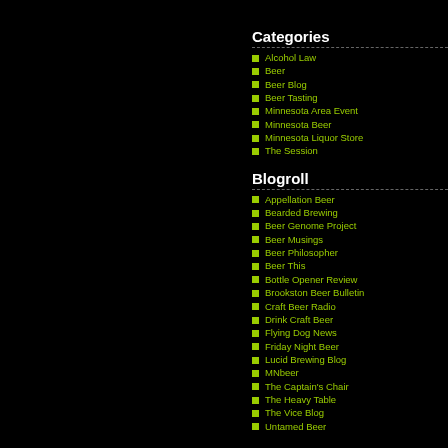Categories
Alcohol Law
Beer
Beer Blog
Beer Tasting
Minnesota Area Event
Minnesota Beer
Minnesota Liquor Store
The Session
Blogroll
Appellation Beer
Bearded Brewing
Beer Genome Project
Beer Musings
Beer Philosopher
Beer This
Bottle Opener Review
Brookston Beer Bulletin
Craft Beer Radio
Drink Craft Beer
Flying Dog News
Friday Night Beer
Lucid Brewing Blog
MNbeer
The Captain's Chair
The Heavy Table
The Vice Blog
Untamed Beer